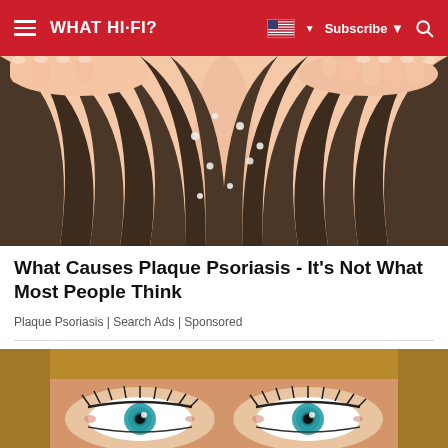WHAT HI-FI?
[Figure (illustration): Illustrated close-up of hands parting dark hair revealing a scalp with white flakes, representing plaque psoriasis.]
What Causes Plaque Psoriasis - It's Not What Most People Think
Plaque Psoriasis | Search Ads | Sponsored
[Figure (photo): Close-up photo of a woman's eyes with bright teal/green irises and mascara-coated lashes.]